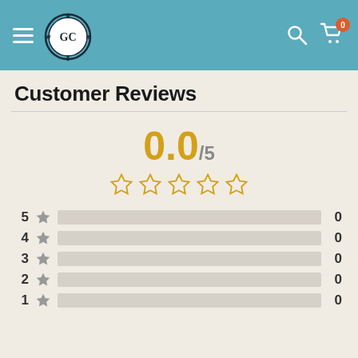[Figure (logo): GC compass logo on teal header with hamburger menu, search icon, and cart icon with badge 0]
Customer Reviews
0.0/5 with 5 empty stars
| Stars |  | Bar | Count |
| --- | --- | --- | --- |
| 5 | ★ |  | 0 |
| 4 | ★ |  | 0 |
| 3 | ★ |  | 0 |
| 2 | ★ |  | 0 |
| 1 | ★ |  | 0 |